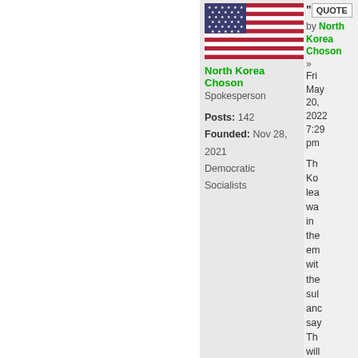[Figure (photo): US flag image]
North Korea Choson
Spokesperson
Posts: 142
Founded: Nov 28, 2021
Democratic Socialists
QUOTE
by North Korea Choson
» Fri May 20, 2022 7:29 pm
The Ko lea wa in the em wit the sul anc say The will em